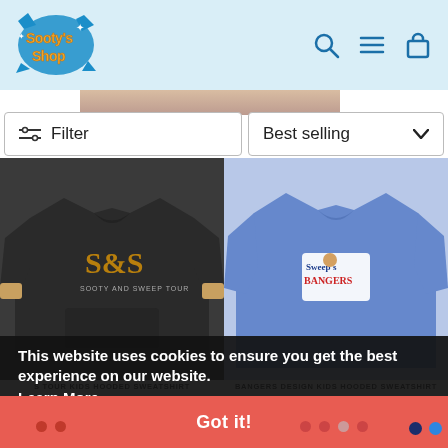[Figure (logo): Sooty's Shop logo - colorful cartoon logo with yellow/orange text on blue splash background]
[Figure (screenshot): Navigation icons: search (magnifying glass), hamburger menu, shopping bag - in blue]
Filter
Best selling
[Figure (photo): Dark hoodie sweatshirt with S&S Sooty and Sweep tour graphic design on front, worn by model]
[Figure (photo): Blue kids hoodie sweatshirt with Sweep's Bangers logo/design on front]
S TOUR KIDS HOODED SWEATSHIRT
£24.95
BANGERS DESIGN KIDS HOODED SWEATSHIRT
£24.95
This website uses cookies to ensure you get the best experience on our website.
Learn More
Got it!